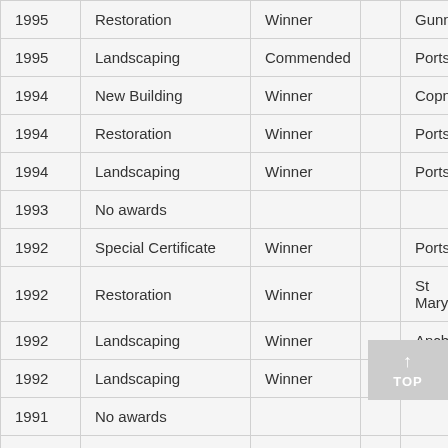| Year | Category | Award |  | Location |
| --- | --- | --- | --- | --- |
| 1995 | Restoration | Winner |  | Gunne… |
| 1995 | Landscaping | Commended |  | Portsm… |
| 1994 | New Building | Winner |  | Copno… |
| 1994 | Restoration | Winner |  | Portsm… |
| 1994 | Landscaping | Winner |  | Portsm… |
| 1993 | No awards |  |  |  |
| 1992 | Special Certificate | Winner |  | Portsm… |
| 1992 | Restoration | Winner |  | St Mary… |
| 1992 | Landscaping | Winner |  | Ancho… |
| 1992 | Landscaping | Winner |  | Tamwo… |
| 1991 | No awards |  |  |  |
| 1990 | New Building | Winner |  | The Bo… |
| 1990 | Restoration | Winner |  | …e Ro… |
| 1989 | Landscaping | Winner |  | … |